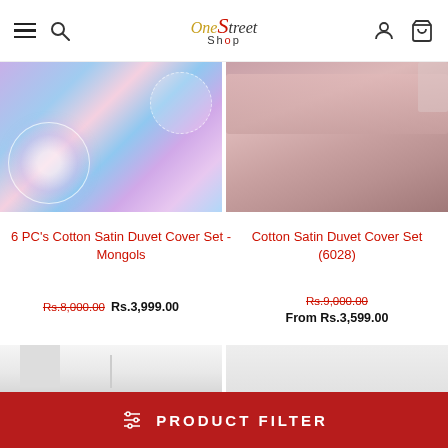OneStreet Shop
[Figure (photo): 6 PC's Cotton Satin Duvet Cover Set - Mongols product image showing colorful mandala patterned bedding]
[Figure (photo): Cotton Satin Duvet Cover Set (6028) product image showing pink duvet on bed]
6 PC's Cotton Satin Duvet Cover Set - Mongols
Rs.8,000.00  Rs.3,999.00
Cotton Satin Duvet Cover Set (6028)
Rs.9,000.00  From Rs.3,599.00
[Figure (photo): Bottom left product image - white/light room setting]
[Figure (photo): Bottom right product image - white/light bedding]
PRODUCT FILTER